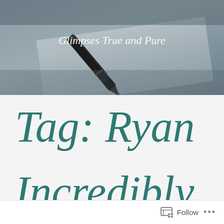[Figure (photo): Header image showing a fountain pen on lined notebook paper with dark teal/grey tones, with the subtitle 'Glimpses True and Pure' overlaid in white italic text]
Tag: Ryan
Incredibly
Follow ...